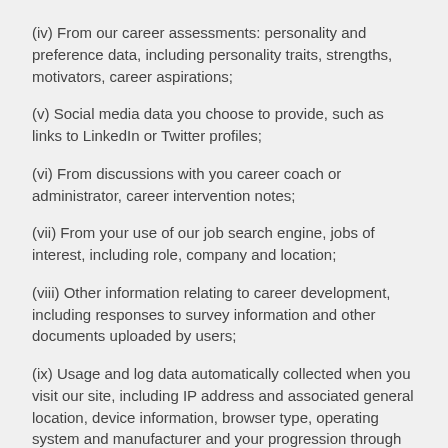(iv) From our career assessments: personality and preference data, including personality traits, strengths, motivators, career aspirations;
(v) Social media data you choose to provide, such as links to LinkedIn or Twitter profiles;
(vi) From discussions with you career coach or administrator, career intervention notes;
(vii) From your use of our job search engine, jobs of interest, including role, company and location;
(viii) Other information relating to career development, including responses to survey information and other documents uploaded by users;
(ix) Usage and log data automatically collected when you visit our site, including IP address and associated general location, device information, browser type, operating system and manufacturer and your progression through the site, what areas you viewed and where you abandoned it.